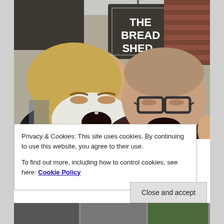[Figure (photo): Two men smiling and laughing in front of a pub sign reading 'THE BREAD SHED'. The man on the left has long wavy hair and a large white beard, wearing a black vest over a t-shirt. The man on the right wears glasses and a colorful scarf.]
Privacy & Cookies: This site uses cookies. By continuing to use this website, you agree to their use.
To find out more, including how to control cookies, see here: Cookie Policy
Close and accept
[Figure (photo): Bottom strip showing partial thumbnails of additional photos below the cookie banner.]